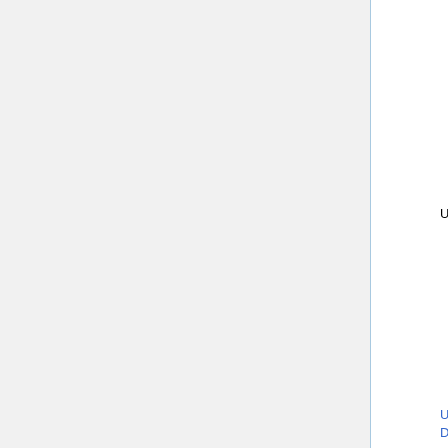(W3)
Ma
Cio
Ma
Gri
Me (strikethrough)
Ku (strikethrough)
Ne
Nic
Ch
Wa
U Düsseldorf   appl anal (W3)   May 4, 2011
Ca (strikethrough)
Tis (strikethrough)
[43]
Ve (strikethrough)
Jü (bold)
[45]
Gu
He
Me
Wa
U Düsseldorf   numerics (W3)   May 23, 2013
Ch
He
Sir